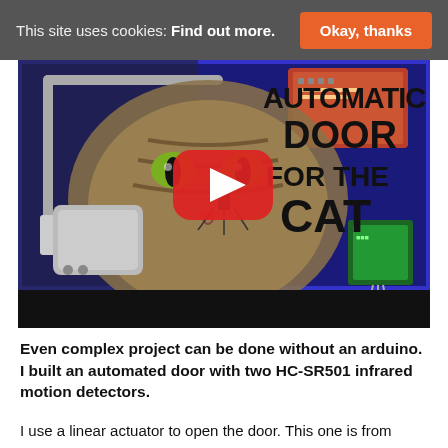This site uses cookies: Find out more. [Okay, thanks]
[Figure (screenshot): YouTube video thumbnail for 'Automatic Door for the Cat' project showing a cat face with a YouTube play button, electronics components, and large bold text reading AUTOMATIC DOOR FOR THE CAT]
Even complex project can be done without an arduino. I built an automated door with two HC-SR501 infrared motion detectors.
I use a linear actuator to open the door. This one is from